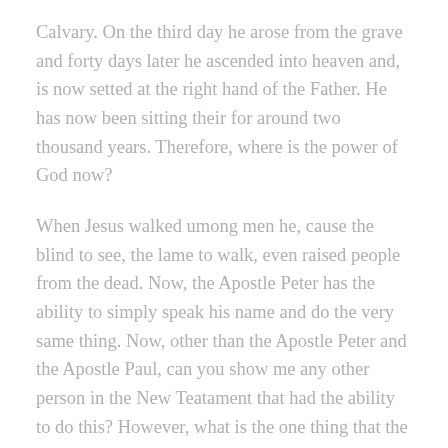Calvary. On the third day he arose from the grave and forty days later he ascended into heaven and, is now setted at the right hand of the Father. He has now been sitting their for around two thousand years. Therefore, where is the power of God now?
When Jesus walked umong men he, cause the blind to see, the lame to walk, even raised people from the dead. Now, the Apostle Peter has the ability to simply speak his name and do the very same thing. Now, other than the Apostle Peter and the Apostle Paul, can you show me any other person in the New Teatament that had the ability to do this? However, what is the one thing that the other people could do as well as every born again believer today? Those of that day and we alike have the ability to ( speak in his name ). Outside of that council that day, while no one was being made to walk and the blind was not